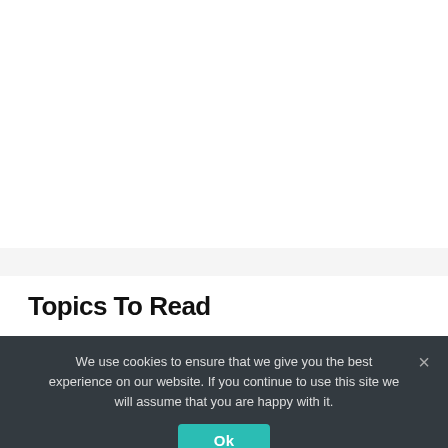Topics To Read
We use cookies to ensure that we give you the best experience on our website. If you continue to use this site we will assume that you are happy with it.
Ok